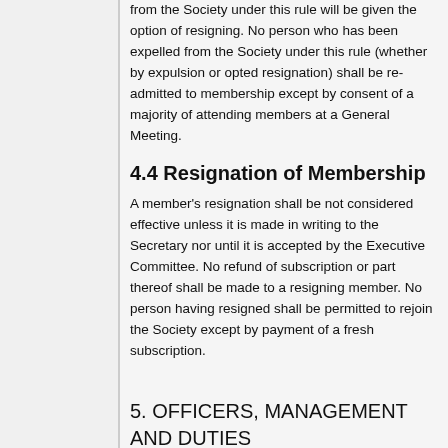from the Society under this rule will be given the option of resigning. No person who has been expelled from the Society under this rule (whether by expulsion or opted resignation) shall be re-admitted to membership except by consent of a majority of attending members at a General Meeting.
4.4 Resignation of Membership
A member's resignation shall be not considered effective unless it is made in writing to the Secretary nor until it is accepted by the Executive Committee. No refund of subscription or part thereof shall be made to a resigning member. No person having resigned shall be permitted to rejoin the Society except by payment of a fresh subscription.
5. OFFICERS, MANAGEMENT AND DUTIES
5.1 The Executive Committee